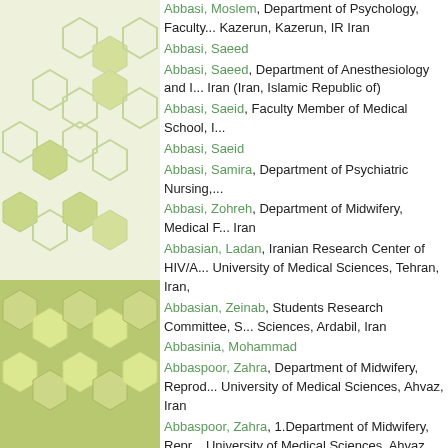[Figure (illustration): Left panel with light green/beige background and decorative hexagon pattern in varying shades of green]
Abbasi, Moslem, Department of Psychology, Faculty... Kazerun, Kazerun, IR Iran
Abbasi, Saeed
Abbasi, Saeed, Department of Anesthesiology and I... Iran (Iran, Islamic Republic of)
Abbasi, Saeid, Faculty Member of Medical School, I...
Abbasi, Saeid
Abbasi, Samira, Department of Psychiatric Nursing,...
Abbasi, Zohreh, Department of Midwifery, Medical F... Iran
Abbasian, Ladan, Iranian Research Center of HIV/A... University of Medical Sciences, Tehran, Iran,
Abbasian, Zeinab, Students Research Committee, S... Sciences, Ardabil, Iran
Abbasinia, Mohammad
Abbaspoor, Zahra, Department of Midwifery, Reprod... University of Medical Sciences, Ahvaz, Iran
Abbaspoor, Zahra, 1.Department of Midwifery, Repr... University of Medical Sciences, Ahvaz, Iran,2.Facult... Health, Tarbiat Modares University, Tehran, Ira
Abbaspour, Hadi, Department of Medical Surgical N... Medical Sciences, Mashhad,
1 - 50 of 4797 Items    1 2 3 4 5 6 7 8 9 10 > >>